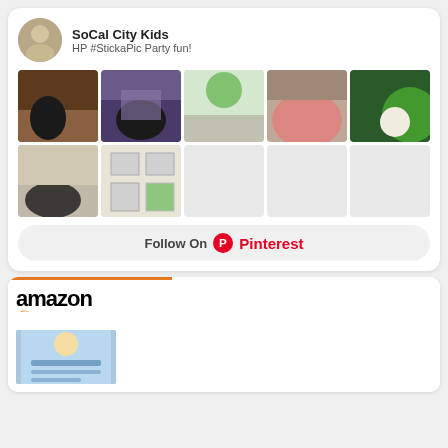[Figure (screenshot): Pinterest board widget from SoCal City Kids showing profile avatar, board name, subtitle 'HP #StickaPic Party fun!', a grid of 7 photos (dogs with green bowls, food in pink bowl, cupcake on green plate, printed photos), and a 'Follow On Pinterest' button]
[Figure (screenshot): Amazon product widget showing Amazon logo with orange arrow, and a book cover for what appears to be a children's book]